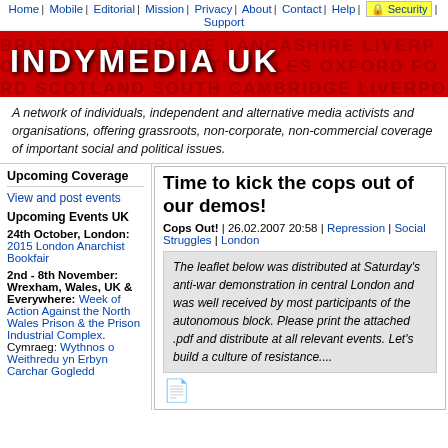Home | Mobile | Editorial | Mission | Privacy | About | Contact | Help | Security | Support
[Figure (logo): Indymedia UK red banner logo with white bold text 'INDYMEDIA UK' and city names in background]
A network of individuals, independent and alternative media activists and organisations, offering grassroots, non-corporate, non-commercial coverage of important social and political issues.
Upcoming Coverage
View and post events
Upcoming Events UK
24th October, London: 2015 London Anarchist Bookfair
2nd - 8th November: Wrexham, Wales, UK & Everywhere: Week of Action Against the North Wales Prison & the Prison Industrial Complex. Cymraeg: Wythnos o Weithredu yn Erbyn Carchar Gogledd
Time to kick the cops out of our demos!
Cops Out! | 26.02.2007 20:58 | Repression | Social Struggles | London
The leaflet below was distributed at Saturday's anti-war demonstration in central London and was well received by most participants of the autonomous block. Please print the attached .pdf and distribute at all relevant events. Let's build a culture of resistance....